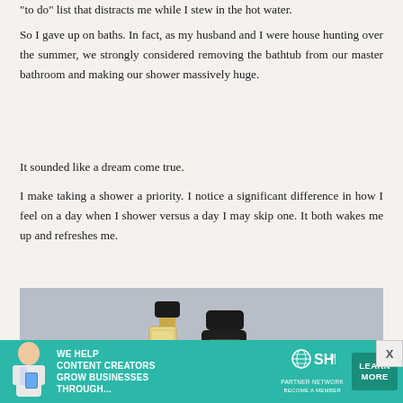“to do” list that distracts me while I stew in the hot water.
So I gave up on baths. In fact, as my husband and I were house hunting over the summer, we strongly considered removing the bathtub from our master bathroom and making our shower massively huge.
It sounded like a dream come true.
I make taking a shower a priority. I notice a significant difference in how I feel on a day when I shower versus a day I may skip one. It both wakes me up and refreshes me.
[Figure (photo): Two beauty/fragrance product bottles with floral packaging on a gray background]
[Figure (infographic): Advertisement banner for SHE Media Partner Network: 'We help content creators grow businesses through...' with Learn More button]